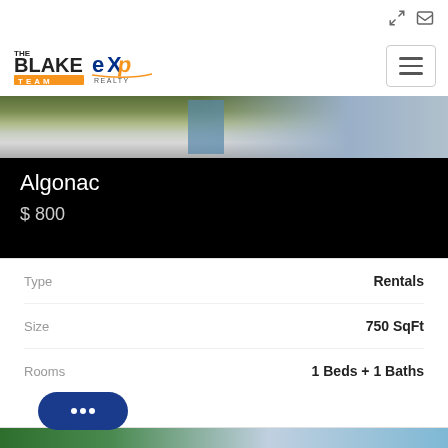[Figure (logo): The Blake Team eXp Realty logo]
[Figure (photo): Property exterior photo strip - building with stairs and vegetation]
Algonac
$ 800
|  |  |
| --- | --- |
| Type | Rentals |
| Size | 750 SqFt |
| Rooms | 1 Beds + 1 Baths |
[Figure (photo): Property exterior photo - white building with columns and blue sky]